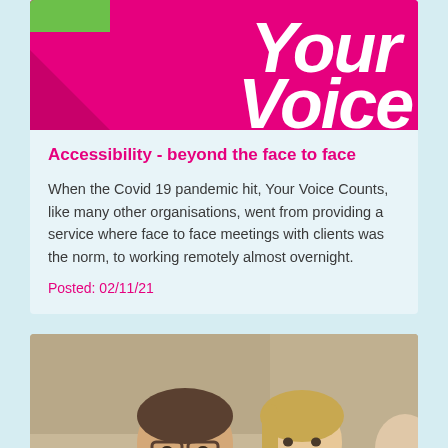[Figure (logo): Your Voice Counts logo — magenta/pink background with 'Your Voice' text in white italic bold, green bar top-left]
Accessibility - beyond the face to face
When the Covid 19 pandemic hit, Your Voice Counts, like many other organisations, went from providing a service where face to face meetings with clients was the norm, to working remotely almost overnight.
Posted: 02/11/21
[Figure (photo): A man with glasses and beard and a woman with short blonde hair sitting together, appearing to be in a meeting or discussion]